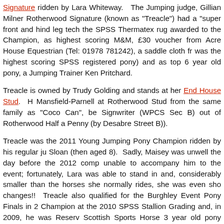Signature ridden by Lara Whiteway. The Jumping judge, Gillian Milner Rotherwood Signature (known as "Treacle") had a "super front and hind leg tech the SPSS Thermatex rug awarded to the Champion, as highest scoring M&M, £30 voucher from Acre House Equestrian (Tel: 01978 781242), a saddle cloth fr was the highest scoring SPSS registered pony) and as top 6 year old pony, a Jumping Trainer Ken Pritchard.
Treacle is owned by Trudy Golding and stands at her End House Stud. H Mansfield-Parnell at Rotherwood Stud from the same family as "Coco Can", be Signwriter (WPCS Sec B) out of Rotherwood Half a Penny (by Desabre Street B)).
Treacle was the 2011 Young Jumping Pony Champion ridden by his regular ju Sloan (then aged 8). Sadly, Maisey was unwell the day before the 2012 comp unable to accompany him to the event; fortunately, Lara was able to stand in and, considerably smaller than the horses she normally rides, she was even sho changes!! Treacle also qualified for the Burghley Event Pony Finals in 2 Champion at the 2010 SPSS Stallion Grading and, in 2009, he was Reserv Scottish Sports Horse 3 year old pony Loose Jumping competition.